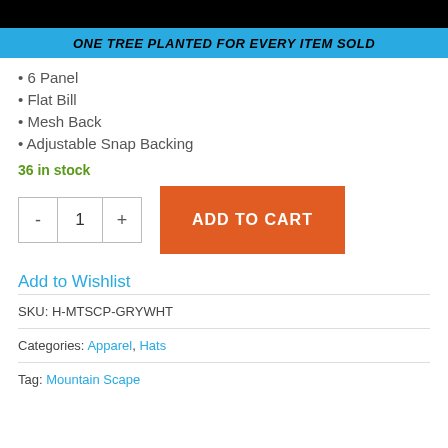ONE TREE PLANTED FOR EVERY ITEM SOLD
6 Panel
Flat Bill
Mesh Back
Adjustable Snap Backing
36 in stock
ADD TO CART
Add to Wishlist
SKU: H-MTSCP-GRYWHT
Categories: Apparel, Hats
Tag: Mountain Scape